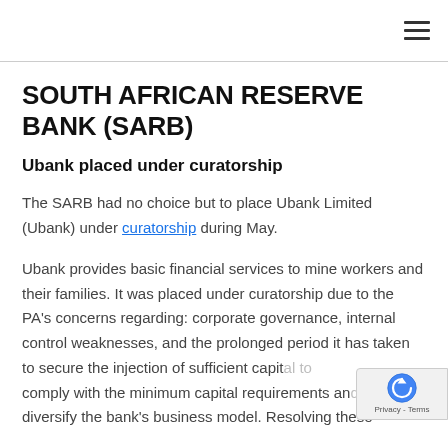≡
SOUTH AFRICAN RESERVE BANK (SARB)
Ubank placed under curatorship
The SARB had no choice but to place Ubank Limited (Ubank) under curatorship during May.
Ubank provides basic financial services to mine workers and their families. It was placed under curatorship due to the PA's concerns regarding: corporate governance, internal control weaknesses, and the prolonged period it has taken to secure the injection of sufficient capital to comply with the minimum capital requirements and diversify the bank's business model. Resolving these